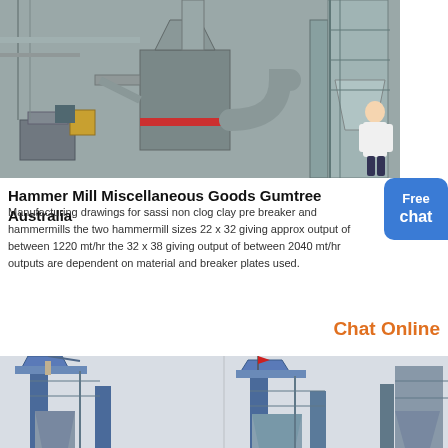[Figure (photo): Industrial hammer mill machinery in a factory setting, showing large metal grinding/milling equipment with pipes, hoppers, scaffolding, and conveyor systems in grey metal tones.]
Hammer Mill Miscellaneous Goods Gumtree Australia
Manufacturing drawings for sassi non clog clay pre breaker and hammermills there two hammermill sizes 22 x 32 giving approx output of between 1220 mt/hr the 32 x 38 giving output of between 2040 mt/hr outputs are dependent on material and breaker plates used.
Chat Online
[Figure (photo): Two industrial hammer mill tower structures with blue steel frameworks, hoppers, and scaffolding photographed outdoors against a light sky.]